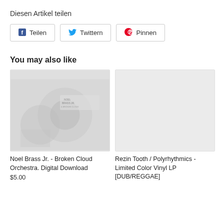Diesen Artikel teilen
[Figure (other): Share buttons: Facebook Teilen, Twitter Twittern, Pinterest Pinnen]
You may also like
[Figure (photo): Album cover for Noel Brass Jr. - Broken Cloud Orchestra. Digital Download, faded grayscale photo]
Noel Brass Jr. - Broken Cloud Orchestra. Digital Download
$5.00
[Figure (other): Placeholder image for Rezin Tooth / Polyrhythmics - Limited Color Vinyl LP [DUB/REGGAE]]
Rezin Tooth / Polyrhythmics - Limited Color Vinyl LP [DUB/REGGAE]